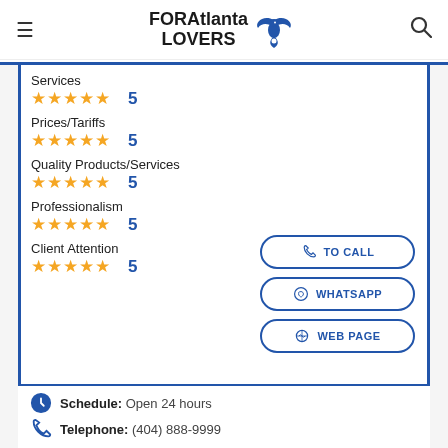FORAtlanta LOVERS
Services ★★★★★ 5
Prices/Tariffs ★★★★★ 5
Quality Products/Services ★★★★★ 5
Professionalism ★★★★★ 5
Client Attention ★★★★★ 5
TO CALL
WHATSAPP
WEB PAGE
Schedule: Open 24 hours
Telephone: (404) 888-9999